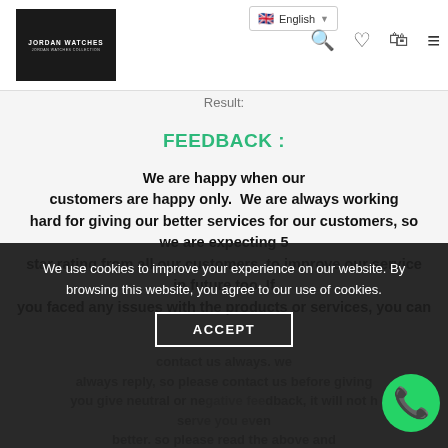JORDAN WATCHES | English language selector | search, wishlist, cart, menu icons
Result:
FEEDBACK :
We are happy when our customers are happy only.  We are always working hard for giving our better services for our customers, so we are expecting 5 star rating from all our customers, to improve our service in future too. If you faced any issues with the products or services, you can contact us always. we always reply, so please contact us before giving us feedback. If you give neutral or negative feedback, it will not help us to serve you even better. so please read the above and...
We use cookies to improve your experience on our website. By browsing this website, you agree to our use of cookies.
ACCEPT